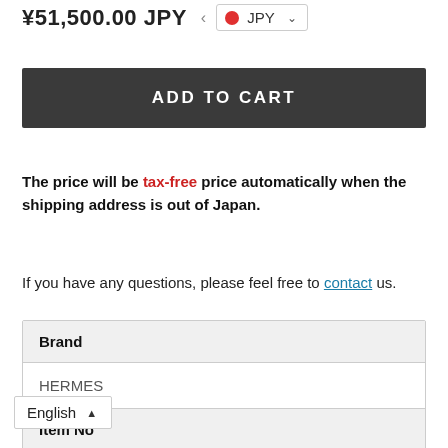¥51,500.00 JPY
ADD TO CART
The price will be tax-free price automatically when the shipping address is out of Japan.
If you have any questions, please feel free to contact us.
| Brand |
| --- |
| HERMES |
| Item No |
| 7707797 |
English